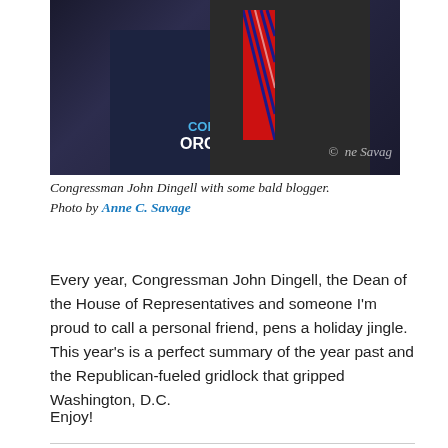[Figure (photo): Two men posing together; one wearing a dark navy 'Community Organizer' t-shirt with Obama logo, the other in a suit with a red and blue striped tie. Watermark reads '© Anne Savage' in lower right.]
Congressman John Dingell with some bald blogger. Photo by Anne C. Savage
Every year, Congressman John Dingell, the Dean of the House of Representatives and someone I'm proud to call a personal friend, pens a holiday jingle. This year's is a perfect summary of the year past and the Republican-fueled gridlock that gripped Washington, D.C.
Enjoy!